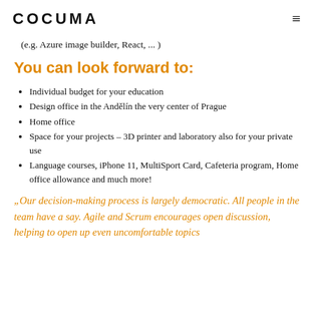COCUMA
(e.g. Azure image builder, React, ... )
You can look forward to:
Individual budget for your education
Design office in the Anděl, in the very center of Prague
Home office
Space for your projects – 3D printer and laboratory also for your private use
Language courses, iPhone 11, MultiSport Card, Cafeteria program, Home office allowance and much more!
„Our decision-making process is largely democratic. All people in the team have a say. Agile and Scrum encourages open discussion, helping to open up even uncomfortable topics